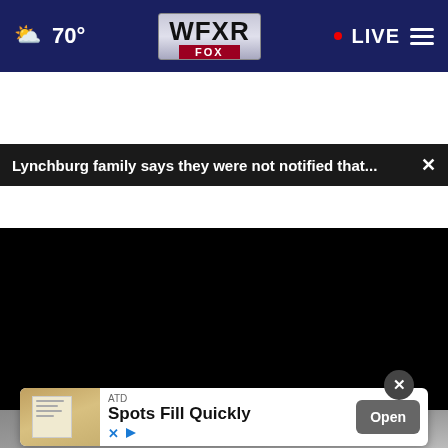[Figure (screenshot): WFXR FOX news website navigation bar with weather (partly cloudy 70°), WFXR FOX logo in center, and LIVE indicator with hamburger menu on right]
Lynchburg family says they were not notified that...
[Figure (screenshot): Video player with black screen, progress bar at 0:00, play button, mute button, timestamp 00:00, caption button, and fullscreen button]
[Figure (screenshot): Advertisement overlay showing ATD with text 'Spots Fill Quickly' and Open button, with close X button]